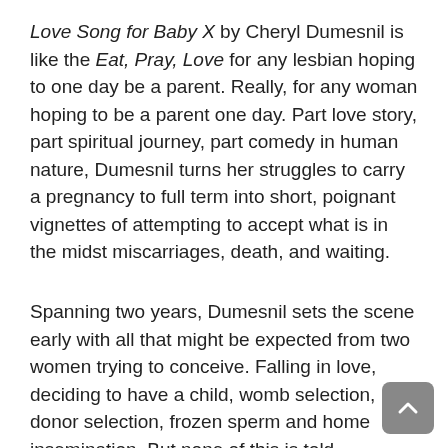Love Song for Baby X by Cheryl Dumesnil is like the Eat, Pray, Love for any lesbian hoping to one day be a parent. Really, for any woman hoping to be a parent one day. Part love story, part spiritual journey, part comedy in human nature, Dumesnil turns her struggles to carry a pregnancy to full term into short, poignant vignettes of attempting to accept what is in the midst miscarriages, death, and waiting.
Spanning two years, Dumesnil sets the scene early with all that might be expected from two women trying to conceive. Falling in love, deciding to have a child, womb selection, donor selection, frozen sperm and home insemination. But none of this is told flippantly. Instead, Dumesnil brings her poet's attention to each scene in Love Song for Baby X: knowing the names of trees and wildlife, remembering the fine details of what her “wife-to-be,” Tracie, was wearing the night they met, and